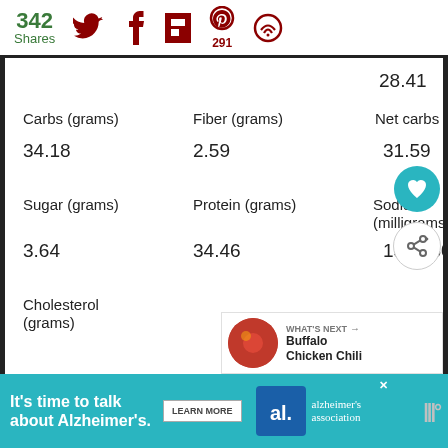342 Shares
| Carbs (grams) | Fiber (grams) | Net carbs | Sugar (grams) | Protein (grams) | Sodium (milligrams) | Cholesterol (grams) |
| --- | --- | --- | --- | --- | --- | --- |
| 34.18 | 2.59 | 31.59 |
| 3.64 | 34.46 | 1585.50 |
|  |  |  |
28.41
WHAT'S NEXT → Buffalo Chicken Chili
It's time to talk about Alzheimer's.